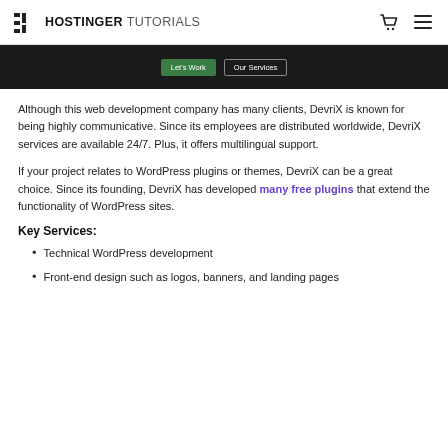HOSTINGER TUTORIALS
[Figure (screenshot): Dark navigation bar with 'Let's Work' green button and 'Our Services' outline button]
Although this web development company has many clients, DevriX is known for being highly communicative. Since its employees are distributed worldwide, DevriX services are available 24/7. Plus, it offers multilingual support.
If your project relates to WordPress plugins or themes, DevriX can be a great choice. Since its founding, DevriX has developed many free plugins that extend the functionality of WordPress sites.
Key Services:
Technical WordPress development
Front-end design such as logos, banners, and landing pages